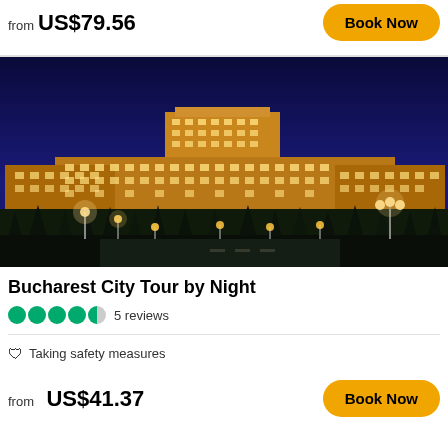from US$79.56
Book Now
[Figure (photo): Bucharest Palace of Parliament illuminated at night with deep blue sky and street lights in foreground]
Bucharest City Tour by Night
5 reviews
Taking safety measures
from US$41.37
Book Now